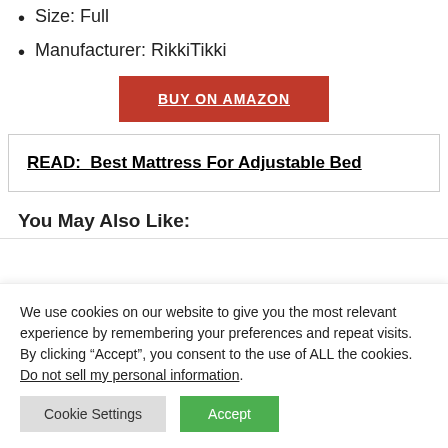Size: Full
Manufacturer: RikkiTikki
BUY ON AMAZON
READ:  Best Mattress For Adjustable Bed
You May Also Like:
We use cookies on our website to give you the most relevant experience by remembering your preferences and repeat visits. By clicking “Accept”, you consent to the use of ALL the cookies. Do not sell my personal information.
Cookie Settings  Accept